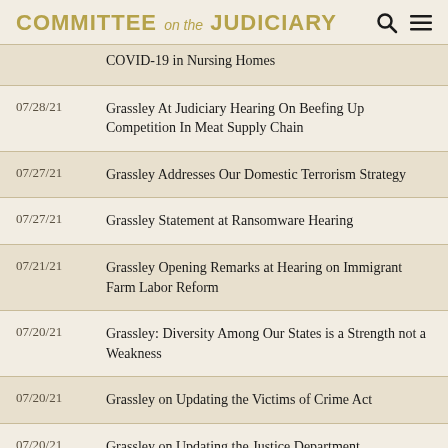COMMITTEE on the JUDICIARY
COVID-19 in Nursing Homes
07/28/21 — Grassley At Judiciary Hearing On Beefing Up Competition In Meat Supply Chain
07/27/21 — Grassley Addresses Our Domestic Terrorism Strategy
07/27/21 — Grassley Statement at Ransomware Hearing
07/21/21 — Grassley Opening Remarks at Hearing on Immigrant Farm Labor Reform
07/20/21 — Grassley: Diversity Among Our States is a Strength not a Weakness
07/20/21 — Grassley on Updating the Victims of Crime Act
07/20/21 — Grassley on Updating the Justice Department...